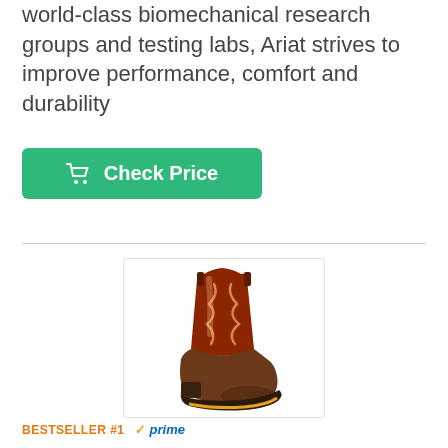world-class biomechanical research groups and testing labs, Ariat strives to improve performance, comfort and durability
[Figure (other): Green 'Check Price' button with shopping cart icon]
[Figure (photo): Ariat Men's Workhog Steel Toe Work Boot in Earth/Brick colorway — a brown and red cowboy-style work boot with decorative stitching on an orange/yellow outsole]
BESTSELLER #1  ✓prime
Ariat Men's Workhog Steel Toe Work Boot, Earth/Brick, 10.5 EE US